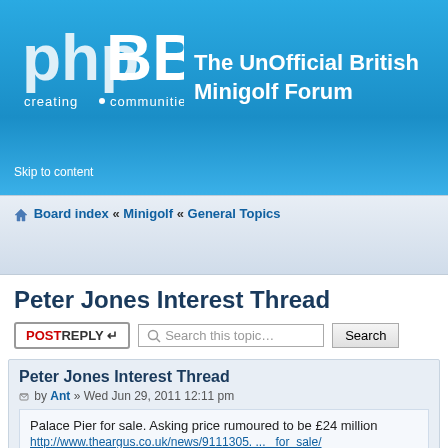[Figure (logo): phpBB logo - creating communities]
The UnOfficial British Minigolf Forum
Skip to content
Board index « Minigolf « General Topics
Peter Jones Interest Thread
POSTREPLY | Search this topic… Search
Peter Jones Interest Thread
by Ant » Wed Jun 29, 2011 12:11 pm
Palace Pier for sale. Asking price rumoured to be £24 million
http://www.theargus.co.uk/news/9111305. ... _for_sale/
Re: Peter Jones Interest Thread
by squirerichard » Wed Jun 29, 2011 2:01 pm